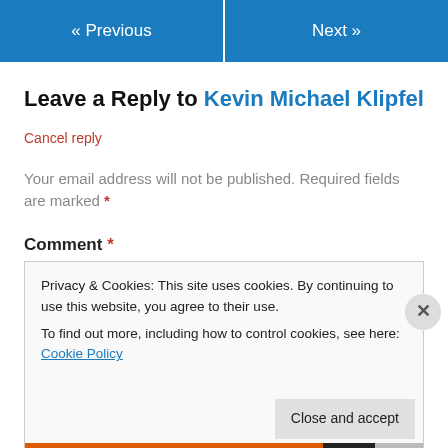« Previous    Next »
Leave a Reply to Kevin Michael Klipfel
Cancel reply
Your email address will not be published. Required fields are marked *
Comment *
Privacy & Cookies: This site uses cookies. By continuing to use this website, you agree to their use.
To find out more, including how to control cookies, see here: Cookie Policy
Close and accept